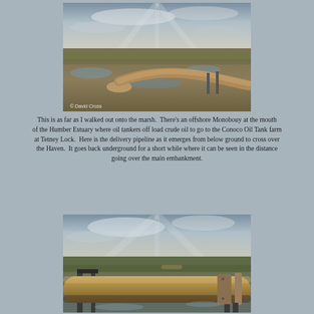[Figure (photo): Landscape photo of a marsh/wetland area with a large pipeline emerging from the ground crossing over water. Overcast cloudy sky above flat marshland with patches of water. Copyright watermark visible in bottom left corner.]
This is as far as I walked out onto the marsh.  There's an offshore Monobouy at the mouth of the Humber Estuary where oil tankers off load crude oil to go to the Conoco Oil Tank farm at Tetney Lock.  Here is the delivery pipeline as it emerges from below ground to cross over the Haven.  It goes back underground for a short while where it can be seen in the distance going over the main embankment.
[Figure (photo): Close-up photo of the large crude oil delivery pipeline emerging from the ground on the marsh, with marsh vegetation and cloudy sky in background. Pipeline appears rusty/aged and sits on metal supports.]